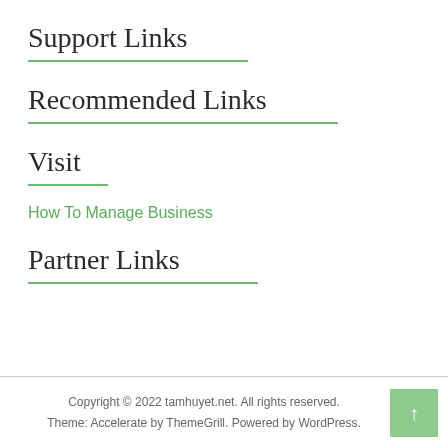Support Links
Recommended Links
Visit
How To Manage Business
Partner Links
Copyright © 2022 tamhuyet.net. All rights reserved. Theme: Accelerate by ThemeGrill. Powered by WordPress.